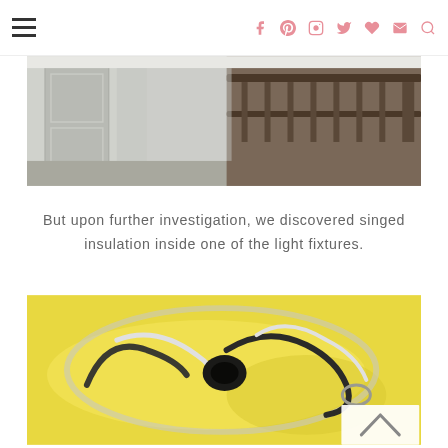Navigation header with hamburger menu and social icons (Facebook, Pinterest, Instagram, Twitter, Bloglovin, Email, Search)
[Figure (photo): Photo of a hallway with light gray walls, a paneled door on the left, and dark wood stair railings on the right]
But upon further investigation, we discovered singed insulation inside one of the light fixtures.
[Figure (photo): Close-up photo of singed/burned electrical wiring and insulation inside a light fixture, against a yellow foam or insulation background]